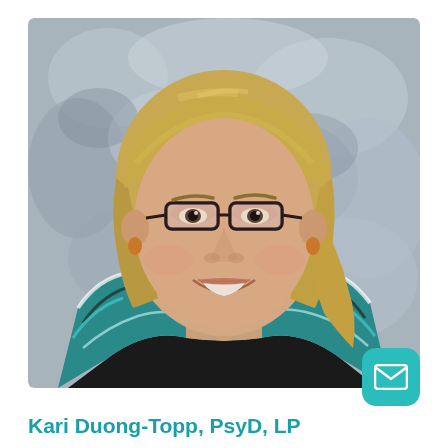[Figure (photo): Professional headshot of Kari Duong-Topp, PsyD, LP. A woman with short blonde hair and glasses, smiling, wearing a teal, black, and white patterned jacket. Background is mottled grey.]
Kari Duong-Topp, PsyD, LP